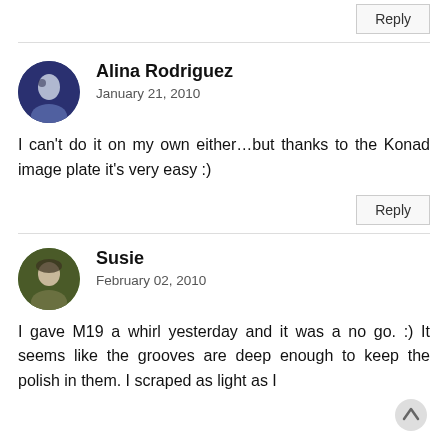Reply
Alina Rodriguez
January 21, 2010
I can't do it on my own either…but thanks to the Konad image plate it's very easy :)
Reply
Susie
February 02, 2010
I gave M19 a whirl yesterday and it was a no go. :) It seems like the grooves are deep enough to keep the polish in them. I scraped as light as I